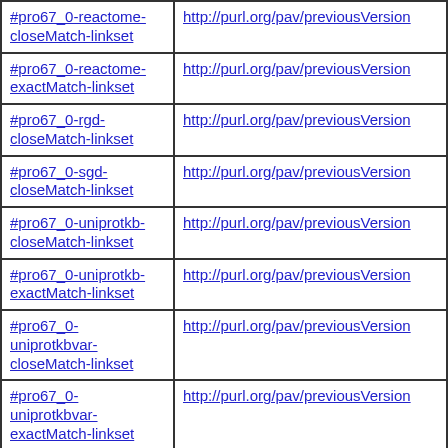| Subject | Predicate |
| --- | --- |
| #pro67_0-reactome-closeMatch-linkset | http://purl.org/pav/previousVersion |
| #pro67_0-reactome-exactMatch-linkset | http://purl.org/pav/previousVersion |
| #pro67_0-rgd-closeMatch-linkset | http://purl.org/pav/previousVersion |
| #pro67_0-sgd-closeMatch-linkset | http://purl.org/pav/previousVersion |
| #pro67_0-uniprotkb-closeMatch-linkset | http://purl.org/pav/previousVersion |
| #pro67_0-uniprotkb-exactMatch-linkset | http://purl.org/pav/previousVersion |
| #pro67_0-uniprotkbvar-closeMatch-linkset | http://purl.org/pav/previousVersion |
| #pro67_0-uniprotkbvar-exactMatch-linkset | http://purl.org/pav/previousVersion |
| #pro67_0-wormbase-closeMatch-linkset | http://purl.org/pav/previousVersion |